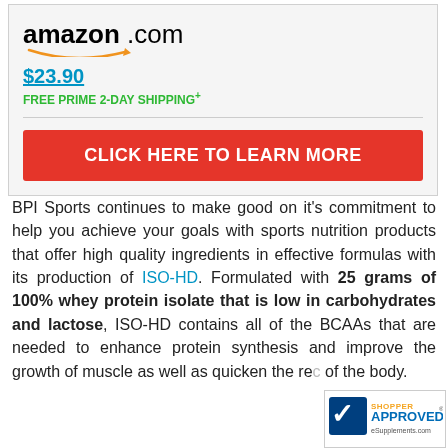[Figure (logo): Amazon.com logo with orange arrow underneath]
$23.90
FREE PRIME 2-DAY SHIPPING+
CLICK HERE TO LEARN MORE
BPI Sports continues to make good on it's commitment to help you achieve your goals with sports nutrition products that offer high quality ingredients in effective formulas with its production of ISO-HD. Formulated with 25 grams of 100% whey protein isolate that is low in carbohydrates and lactose, ISO-HD contains all of the BCAAs that are needed to enhance protein synthesis and improve the growth of muscle as well as quicken the re... of the body.
[Figure (logo): Shopper Approved badge for eSupplements.com]